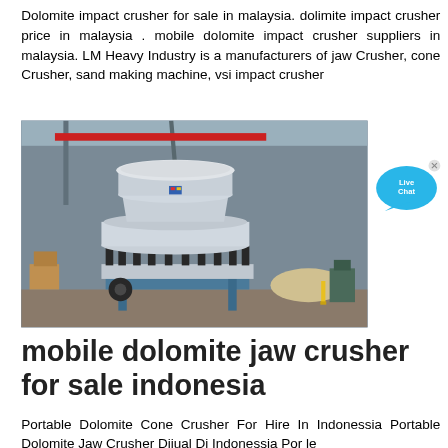Dolomite impact crusher for sale in malaysia. dolimite impact crusher price in malaysia . mobile dolomite impact crusher suppliers in malaysia. LM Heavy Industry is a manufacturers of jaw Crusher, cone Crusher, sand making machine, vsi impact crusher
[Figure (photo): Large industrial cone crusher machine in a factory/warehouse setting, silver/grey colored with spring mechanisms, mounted on a platform]
[Figure (other): Live Chat button - blue speech bubble with text 'Live Chat']
mobile dolomite jaw crusher for sale indonesia
Portable Dolomite Cone Crusher For Hire In Indonessia Portable Dolomite Jaw Crusher Dijual Di Indonessia Por le